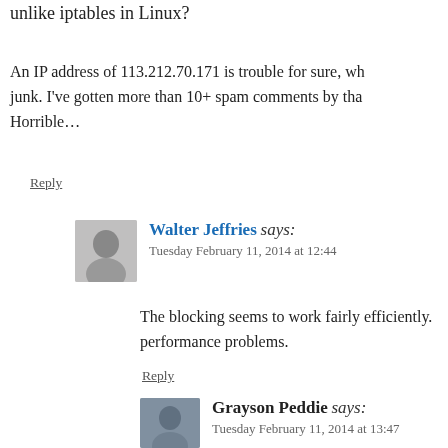unlike iptables in Linux?
An IP address of 113.212.70.171 is trouble for sure, wh junk. I've gotten more than 10+ spam comments by tha Horrible…
Reply
Walter Jeffries says: Tuesday February 11, 2014 at 12:44
The blocking seems to work fairly efficiently. performance problems.
Reply
Grayson Peddie says: Tuesday February 11, 2014 at 13:47
Ah, okay! Applying all the listed IP a I'm doing it conservatively.